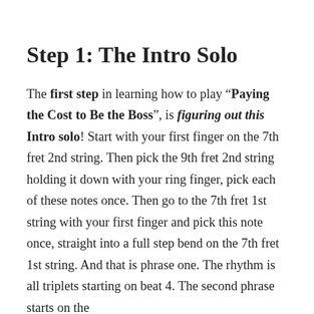Step 1: The Intro Solo
The first step in learning how to play “Paying the Cost to Be the Boss”, is figuring out this Intro solo! Start with your first finger on the 7th fret 2nd string. Then pick the 9th fret 2nd string holding it down with your ring finger, pick each of these notes once. Then go to the 7th fret 1st string with your first finger and pick this note once, straight into a full step bend on the 7th fret 1st string. And that is phrase one. The rhythm is all triplets starting on beat 4. The second phrase starts on the